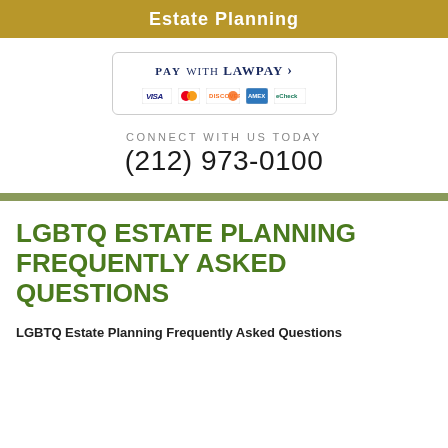Estate Planning
[Figure (logo): Pay with LawPay button with VISA, Mastercard, Discover, American Express, and eCheck payment icons]
CONNECT WITH US TODAY
(212) 973-0100
LGBTQ ESTATE PLANNING FREQUENTLY ASKED QUESTIONS
LGBTQ Estate Planning Frequently Asked Questions